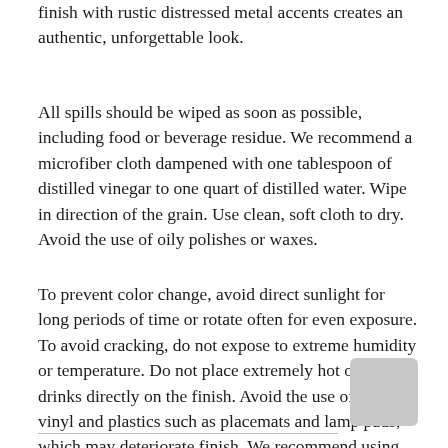finish with rustic distressed metal accents creates an authentic, unforgettable look.
All spills should be wiped as soon as possible, including food or beverage residue. We recommend a microfiber cloth dampened with one tablespoon of distilled vinegar to one quart of distilled water. Wipe in direction of the grain. Use clean, soft cloth to dry. Avoid the use of oily polishes or waxes.
To prevent color change, avoid direct sunlight for long periods of time or rotate often for even exposure. To avoid cracking, do not expose to extreme humidity or temperature. Do not place extremely hot or cold drinks directly on the finish. Avoid the use of rubber, vinyl and plastics such as placemats and lamp pads, which may deteriorate finish. We recommend using cloth-backed items for these purposes.